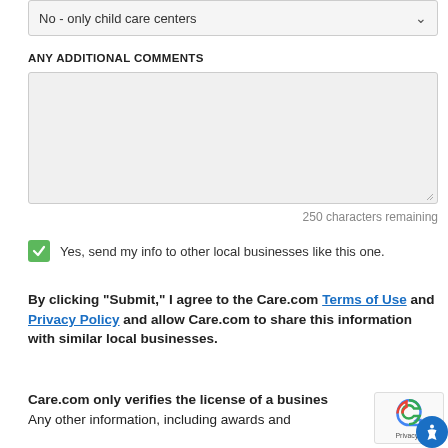No - only child care centers
ANY ADDITIONAL COMMENTS
250 characters remaining
Yes, send my info to other local businesses like this one.
By clicking "Submit," I agree to the Care.com Terms of Use and Privacy Policy and allow Care.com to share this information with similar local businesses.
Care.com only verifies the license of a busines... Any other information, including awards and